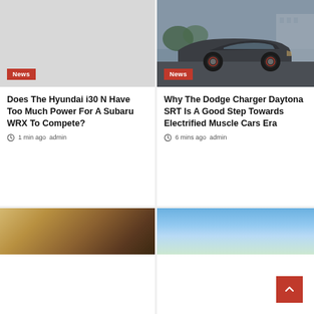[Figure (photo): Light gray placeholder image for Hyundai i30 N article]
News
Does The Hyundai i30 N Have Too Much Power For A Subaru WRX To Compete?
1 min ago   admin
[Figure (photo): Side profile photo of a dark gray Dodge Charger Daytona SRT on a parking lot with overcast sky]
News
Why The Dodge Charger Daytona SRT Is A Good Step Towards Electrified Muscle Cars Era
6 mins ago   admin
[Figure (photo): Blurred photo of a person, partially visible at bottom left]
[Figure (photo): Outdoor photo with blue sky and greenery, partially visible at bottom right]